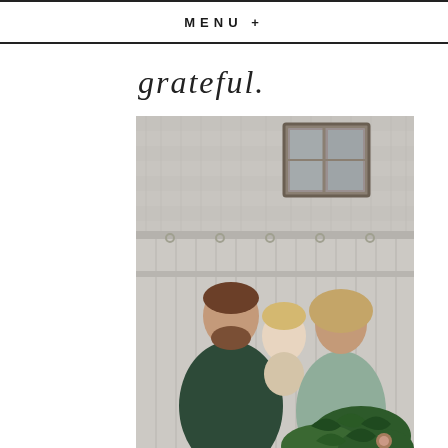MENU +
grateful.
[Figure (photo): A family photo outdoors in front of a weathered white barn with sliding doors. A bearded man in a dark green shirt holds a young toddler with curly blonde hair. A woman with curly hair wearing a mint/sage coat stands beside them, looking up at the child. The woman holds a large greenery wreath with evergreen branches. The barn has old white wooden sliding doors with decorative hardware, and a weathered window above.]